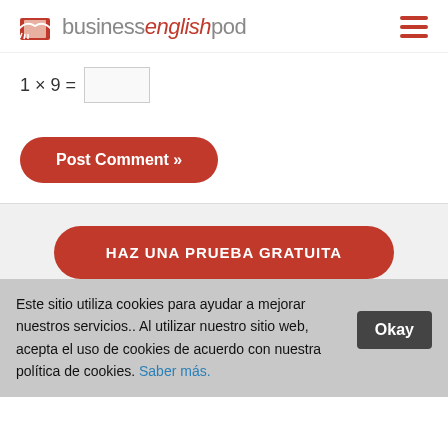[Figure (logo): Business English Pod logo with red book icon and text 'businessenglishpod']
Post Comment »
HAZ UNA PRUEBA GRATUITA
Este sitio utiliza cookies para ayudar a mejorar nuestros servicios.. Al utilizar nuestro sitio web, acepta el uso de cookies de acuerdo con nuestra política de cookies. Saber más.